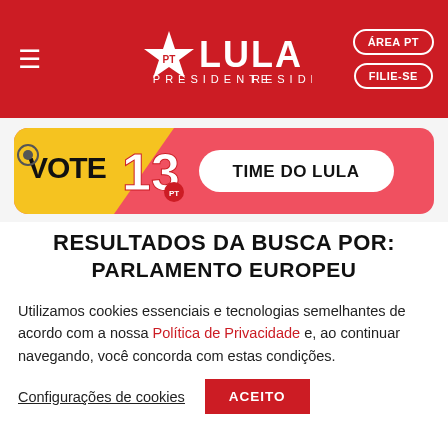[Figure (logo): Lula Presidente PT campaign header with red background, hamburger menu icon on left, PT star logo with LULA PRESIDENTE text in center, and ÁREA PT and FILIE-SE buttons on right]
[Figure (illustration): Campaign banner with pink/red rounded rectangle background showing VOTE 13 PT logo on yellow diagonal and TIME DO LULA text in rounded pill button]
RESULTADOS DA BUSCA POR:
PARLAMENTO EUROPEU
Utilizamos cookies essenciais e tecnologias semelhantes de acordo com a nossa Política de Privacidade e, ao continuar navegando, você concorda com estas condições.
Configurações de cookies   ACEITO